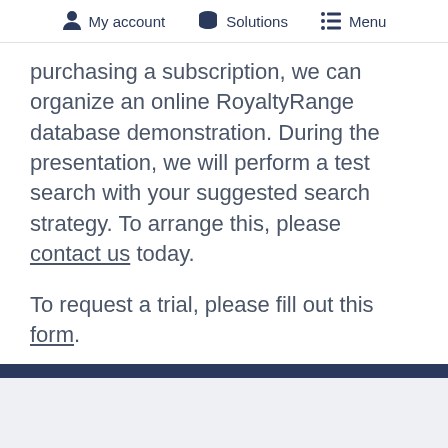My account   Solutions   Menu
purchasing a subscription, we can organize an online RoyaltyRange database demonstration. During the presentation, we will perform a test search with your suggested search strategy. To arrange this, please contact us today.
To request a trial, please fill out this form.
About us